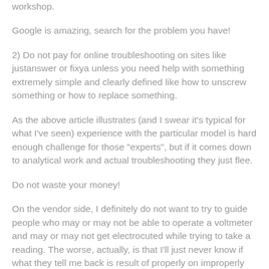workshop.
Google is amazing, search for the problem you have!
2) Do not pay for online troubleshooting on sites like justanswer or fixya unless you need help with something extremely simple and clearly defined like how to unscrew something or how to replace something.
As the above article illustrates (and I swear it's typical for what I've seen) experience with the particular model is hard enough challenge for those "experts", but if it comes down to analytical work and actual troubleshooting they just flee.
Do not waste your money!
On the vendor side, I definitely do not want to try to guide people who may or may not be able to operate a voltmeter and may or may not get electrocuted while trying to take a reading. The worse, actually, is that I'll just never know if what they tell me back is result of properly on improperly done procedure.